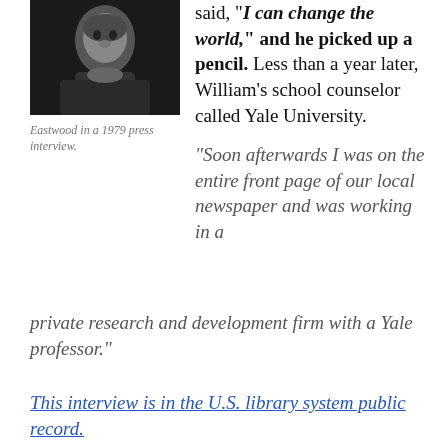[Figure (photo): Black and white photo of a young man, Eastwood, from a 1979 press interview]
Eastwood in a 1979 press interview.
said, "I can change the world," and he picked up a pencil. Less than a year later, William's school counselor called Yale University.
"Soon afterwards I was on the entire front page of our local newspaper and was working in a private research and development firm with a Yale professor."
This interview is in the U.S. library system public record.